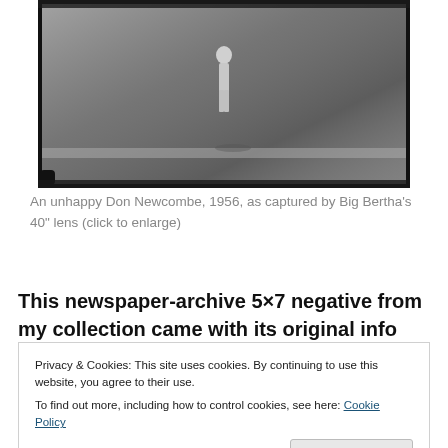[Figure (photo): Black and white photograph of a baseball player (Don Newcombe) on a field, 1956, captured by Big Bertha's 40-inch lens. The image shows a film negative with dark borders.]
An unhappy Don Newcombe, 1956, as captured by Big Bertha's 40” lens (click to enlarge)
This newspaper-archive 5×7 negative from my collection came with its original info sheet (reproduced below), which
Privacy & Cookies: This site uses cookies. By continuing to use this website, you agree to their use.
To find out more, including how to control cookies, see here: Cookie Policy
Close and accept
July 16, 1956